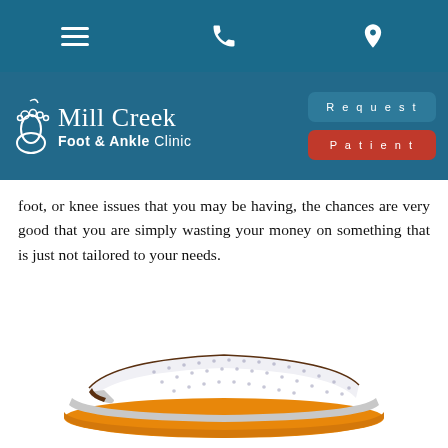Mill Creek Foot & Ankle Clinic — navigation bar with hamburger menu, phone, and location icons
Mill Creek Foot & Ankle Clinic — Request | Patient buttons
foot, or knee issues that you may be having, the chances are very good that you are simply wasting your money on something that is just not tailored to your needs.
[Figure (photo): A shoe orthotic insole shown from the side, with a white dotted top surface, grey arch support layer, and orange bottom sole.]